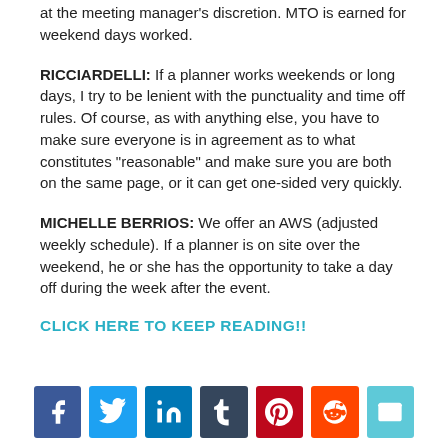at the meeting manager's discretion. MTO is earned for weekend days worked.
RICCIARDELLI: If a planner works weekends or long days, I try to be lenient with the punctuality and time off rules. Of course, as with anything else, you have to make sure everyone is in agreement as to what constitutes “reasonable” and make sure you are both on the same page, or it can get one-sided very quickly.
MICHELLE BERRIOS: We offer an AWS (adjusted weekly schedule). If a planner is on site over the weekend, he or she has the opportunity to take a day off during the week after the event.
CLICK HERE TO KEEP READING!!